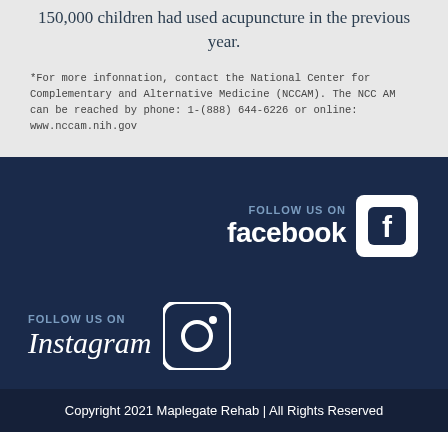150,000 children had used acupuncture in the previous year.
*For more information, contact the National Center for Complementary and Alternative Medicine (NCCAM). The NCC AM can be reached by phone: 1-(888) 644-6226 or online: www.nccam.nih.gov
[Figure (logo): Follow us on Facebook logo with Facebook icon]
[Figure (logo): Follow us on Instagram logo with Instagram icon]
Copyright 2021 Maplegate Rehab | All Rights Reserved